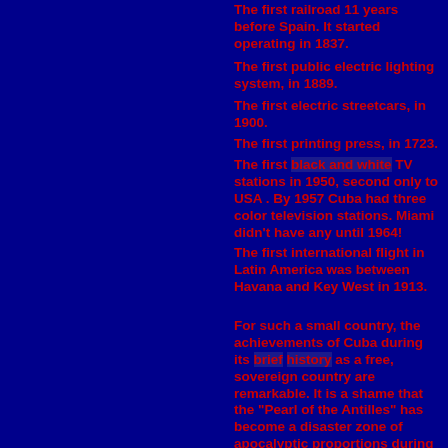The first railroad 11 years before Spain.  It started operating in 1837.
The first public electric lighting system, in 1889.
The first electric streetcars, in 1900.
The first printing press, in 1723.
The first black and white TV stations in 1950, second only to USA . By 1957 Cuba had three color television stations. Miami didn't have any until 1964!
The first international flight in Latin America was between Havana and  Key West in 1913.
For such a small country, the achievements of Cuba during its  brief  history as a free, sovereign country are remarkable. It is a shame that the "Pearl of the Antilles" has become a disaster zone of apocalyptic proportions during the 46+ years of Castro's control. It is a bigger shame that the world is blind to this fact.But there is more...
[Figure (photo): A pennant or banner with text 'El Encanto' and decorative elements visible at bottom of page]